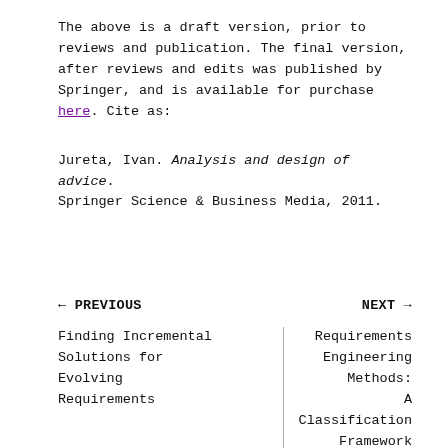The above is a draft version, prior to reviews and publication. The final version, after reviews and edits was published by Springer, and is available for purchase here. Cite as:
Jureta, Ivan. Analysis and design of advice. Springer Science & Business Media, 2011.
← PREVIOUS
NEXT →
Finding Incremental Solutions for Evolving Requirements
Requirements Engineering Methods: A Classification Framework